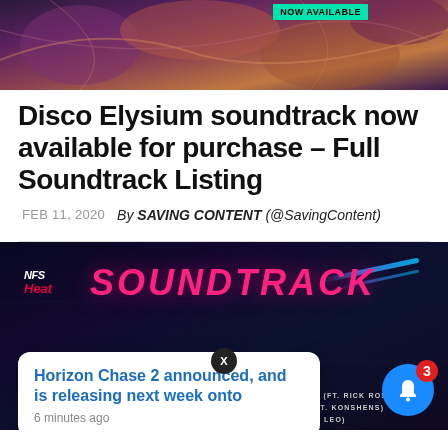[Figure (illustration): Colorful fantasy/video game artwork banner with 'NOW AVAILABLE' label in teal]
Disco Elysium soundtrack now available for purchase – Full Soundtrack Listing
FEB 11, 2020   By SAVING CONTENT (@SavingContent)
[Figure (screenshot): NFS Heat Soundtrack promotional image with popup card showing 'Horizon Chase 2 announced, and is releasing next week onto' posted 6 minutes ago, track listings at bottom, notification bell with badge showing 3]
Horizon Chase 2 announced, and is releasing next week onto
6 minutes ago
DANNY SUAREZ | DEEWON AND LEO JUSTI | DENEE CURRY (FT. RICK ROSS) DEORRO, ELVIS CRESPO & HENRY FONG | DIPLO | EVE (FT. KONSHENS) FELIX JAEHN & BREAKING BEATTZ (FT.BROTHER LEO)